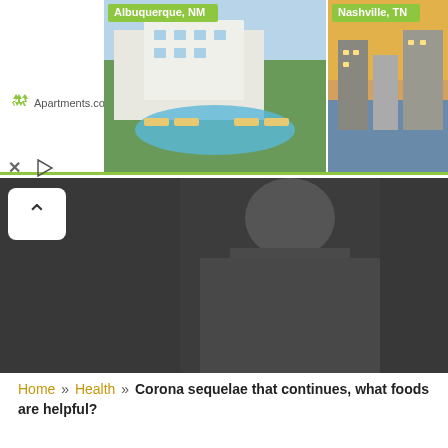[Figure (screenshot): Apartments.com advertisement banner showing apartment complex photos for Albuquerque, NM and Nashville, TN locations with property name Lumen priced at $1,367]
[Figure (photo): Dark background image showing partial silhouette, likely a person in dark clothing]
Home » Health » Corona sequelae that continues, what foods are helpful?